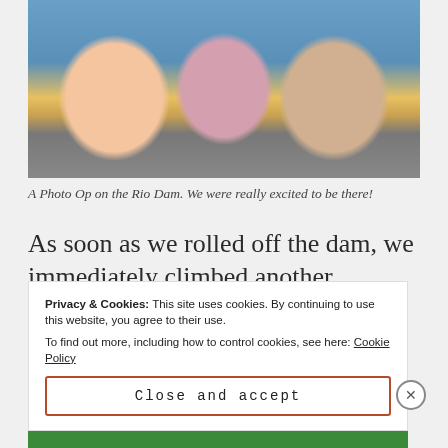[Figure (photo): Three cyclists posing on the Rio Dam, smiling at the camera. Water visible in background. One person wears an 'Action Bikes' jersey.]
A Photo Op on the Rio Dam. We were really excited to be there!
As soon as we rolled off the dam, we immediately climbed another monster incline. Pedal stroke by pedal stroke, we grinded up the hill, until we summited and turned right on
Privacy & Cookies: This site uses cookies. By continuing to use this website, you agree to their use.
To find out more, including how to control cookies, see here: Cookie Policy
Close and accept